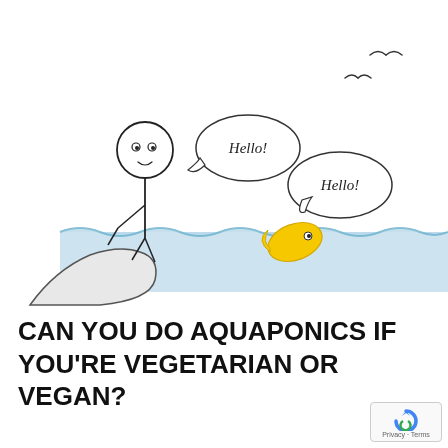[Figure (illustration): A hand-drawn cartoon illustration showing a stick figure person sitting on a rock, saying 'Hello!' in a speech bubble. In the water below, a yellow fish also says 'Hello!' in a speech bubble. Two birds fly in the upper right background. The water is colored light blue with wavy edges.]
CAN YOU DO AQUAPONICS IF YOU'RE VEGETARIAN OR VEGAN?